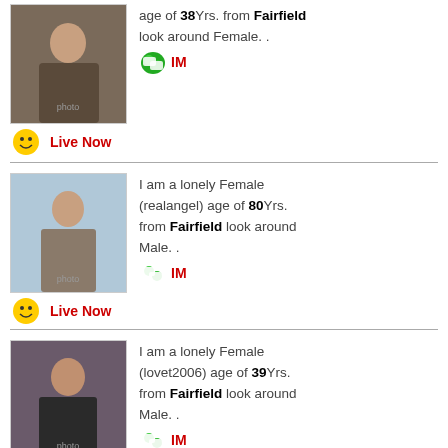age of 38Yrs. from Fairfield look around Female. .
IM
Live Now
I am a lonely Female (realangel) age of 80Yrs. from Fairfield look around Male. .
IM
Live Now
I am a lonely Female (lovet2006) age of 39Yrs. from Fairfield look around Male. .
IM
Live Now